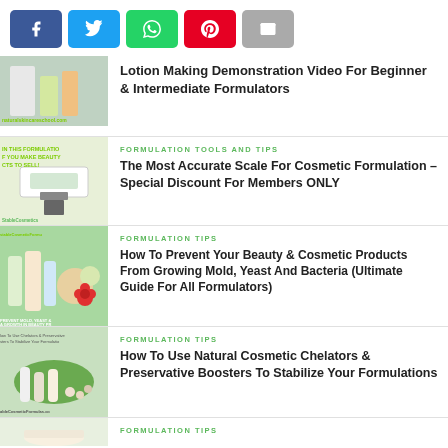[Figure (other): Social share buttons: Facebook, Twitter, WhatsApp, Pinterest, Email]
Lotion Making Demonstration Video For Beginner & Intermediate Formulators
FORMULATION TOOLS AND TIPS
The Most Accurate Scale For Cosmetic Formulation – Special Discount For Members ONLY
FORMULATION TIPS
How To Prevent Your Beauty & Cosmetic Products From Growing Mold, Yeast And Bacteria (Ultimate Guide For All Formulators)
FORMULATION TIPS
How To Use Natural Cosmetic Chelators & Preservative Boosters To Stabilize Your Formulations
FORMULATION TIPS